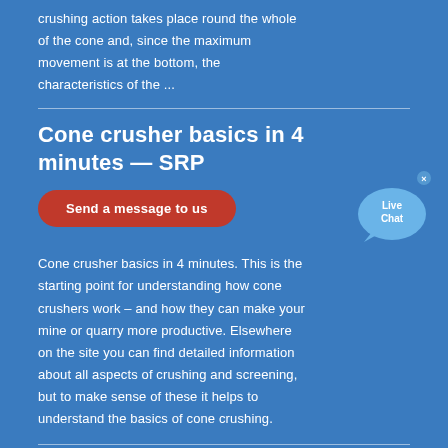crushing action takes place round the whole of the cone and, since the maximum movement is at the bottom, the characteristics of the ...
Cone crusher basics in 4 minutes — SRP
Send a message to us
Cone crusher basics in 4 minutes. This is the starting point for understanding how cone crushers work – and how they can make your mine or quarry more productive. Elsewhere on the site you can find detailed information about all aspects of crushing and screening, but to make sense of these it helps to understand the basics of cone crushing.
[Figure (illustration): Live Chat speech bubble widget with blue chat bubble and 'Live Chat' text, with a close X button in top right corner.]